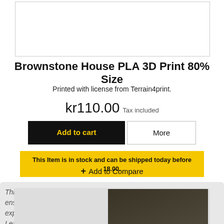[Figure (photo): Product image placeholder box at top]
Brownstone House PLA 3D Print 80% Size
Printed with license from Terrain4print.
kr110.00 Tax included
Add to cart | More
This Item is in stock and can be shipped today before 18.00.
+ Add to Compare
This website uses cookies to ensure you get the best experience on our website. Learn more
[Figure (photo): Photo of 3D printed brownstone house model]